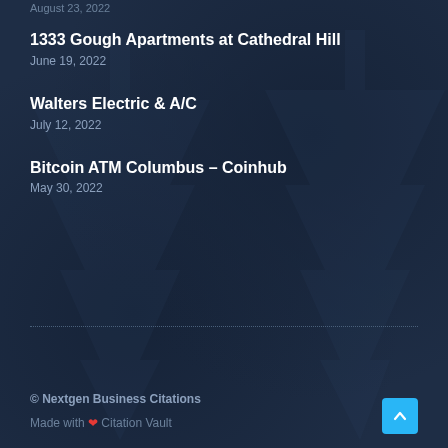August 23, 2022
1333 Gough Apartments at Cathedral Hill
June 19, 2022
Walters Electric & A/C
July 12, 2022
Bitcoin ATM Columbus – Coinhub
May 30, 2022
© Nextgen Business Citations
Made with ❤ Citation Vault